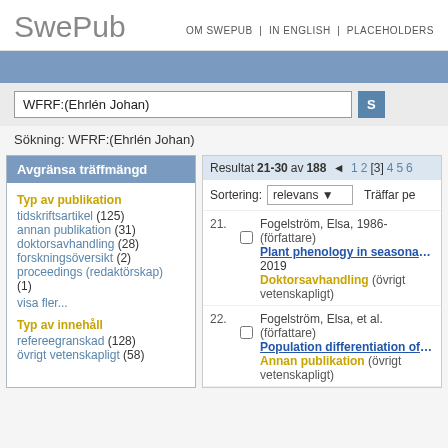SwePub
OM SWEPUB | IN ENGLISH | PLACEHOLDERS
WFRF:(Ehrlén Johan)
Sökning: WFRF:(Ehrlén Johan)
Avgränsa träffmängd
Typ av publikation
tidskriftsartikel (125)
annan publikation (31)
doktorsavhandling (28)
forskningsöversikt (2)
proceedings (redaktörskap) (1)
visa fler...
Typ av innehåll
refereegranskad (128)
övrigt vetenskapligt (58)
Resultat 21-30 av 188  ◄ 1 2 [3] 4 5 6
Sortering: relevans   Träffar pe
21.  Fogelström, Elsa, 1986- (författare)
Plant phenology in seasonal environmen...
2019
Doktorsavhandling (övrigt vetenskapligt)
22.  Fogelström, Elsa, et al. (författare)
Population differentiation of flowering ti...
Annan publikation (övrigt vetenskapligt)